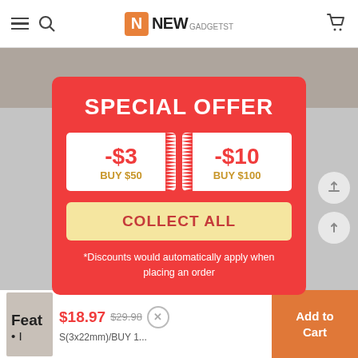NEW GADGETST
[Figure (screenshot): E-commerce website screenshot showing a special offer modal popup on NewGadgetst website with two discount coupons: -$3 BUY $50 and -$10 BUY $100, a COLLECT ALL button, and a disclaimer note. Below is a product listing with price $18.97 (was $29.98) and Add to Cart button.]
SPECIAL OFFER
-$3
BUY $50
-$10
BUY $100
COLLECT ALL
*Discounts would automatically apply when placing an order
$18.97  $29.98
S(3x22mm)/BUY 1...
Add to Cart